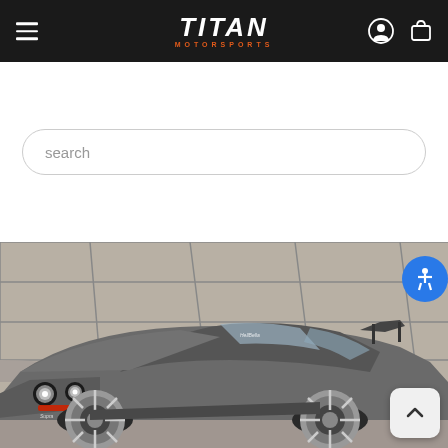TITAN MOTORSPORTS — navigation header with hamburger menu, logo, account and cart icons
search
[Figure (photo): A silver/grey Toyota Supra MK4 modified sports car parked in front of a large concrete panel wall. The car has wide body kit, rear wing spoiler, and chrome multi-spoke wheels. A blue circular accessibility icon button is visible top-right. A back-to-top arrow button is visible bottom-right.]